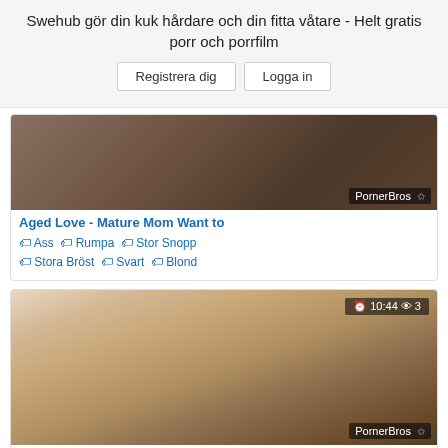Swehub gör din kuk hårdare och din fitta våtare - Helt gratis porr och porrfilm
Registrera dig  Logga in
[Figure (photo): Video thumbnail with PornerBros watermark]
Aged Love - Mature Mom Want to
🏷 Ass 🏷 Rumpa 🏷 Stor Snopp 🏷 Stora Bröst 🏷 Svart 🏷 Blond
[Figure (photo): Video thumbnail showing blonde mature woman, 10:44 duration, 3 views, PornerBros watermark]
Fun Anal sex with mature Lacey
🏷 Anal 🏷 Ass 🏷 Rumpa 🏷 Stor Snopp 🏷 Stora Bröst
[Figure (photo): Partial video thumbnail at bottom of page]